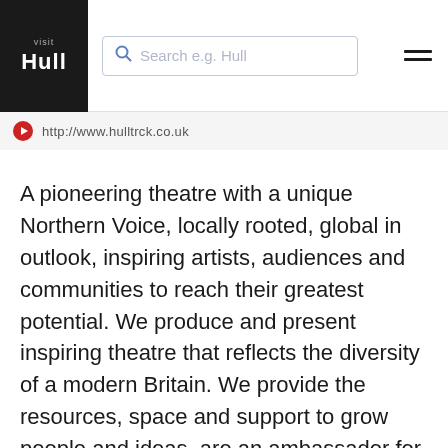Visit Hull — Search e.g. Hull
http://www.hulltrck.co.uk
A pioneering theatre with a unique Northern Voice, locally rooted, global in outlook, inspiring artists, audiences and communities to reach their greatest potential. We produce and present inspiring theatre that reflects the diversity of a modern Britain. We provide the resources, space and support to grow people and ideas, are an ambassador for our city, a flagship for our region and a welcoming home for our communities. Through our work with schools and local communities we engage with thousands of young people, disabled groups